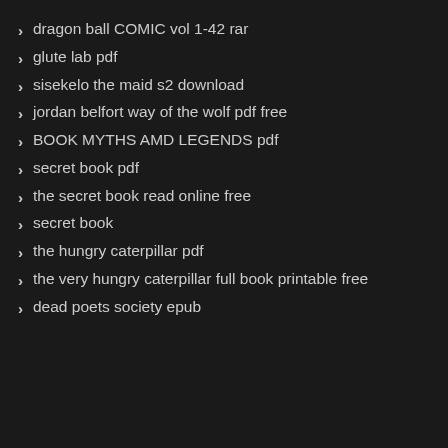dragon ball COMIC vol 1-42 rar
glute lab pdf
sisekelo the maid s2 download
jordan belfort way of the wolf pdf free
BOOK MYTHS AMD LEGENDS pdf
secret book pdf
the secret book read online free
secret book
the hungry caterpillar pdf
the very hungry caterpillar full book printable free
dead poets society epub